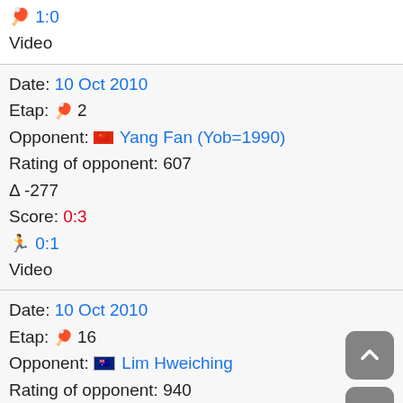🏓 1:0 / Video
Date: 10 Oct 2010 | Etap: 🏓 2 | Opponent: 🇨🇳 Yang Fan (Yob=1990) | Rating of opponent: 607 | Δ -277 | Score: 0:3 | 🏃 0:1 | Video
Date: 10 Oct 2010 | Etap: 🏓 16 | Opponent: 🇦🇺 Lim Hweiching | Rating of opponent: 940 | Δ 56 | Score: 0:3 | 🏃 0:1 | Video